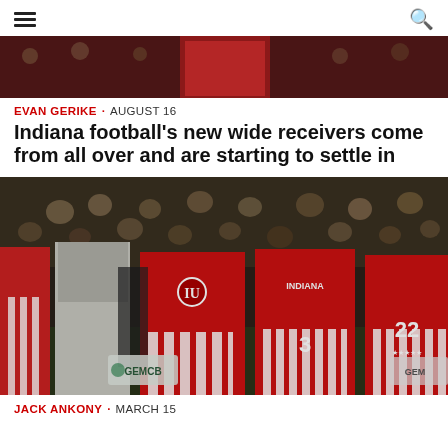≡ [hamburger menu] [search icon]
[Figure (photo): Partial top photo, cropped — appears to be a sports crowd/arena scene with red tones]
EVAN GERIKE · AUGUST 16
Indiana football's new wide receivers come from all over and are starting to settle in
[Figure (photo): Indiana University basketball players on the sideline in red and white striped uniforms — players wearing numbers 3 and 22 visible — crowd in background — GEMCB signage visible]
JACK ANKONY · MARCH 15